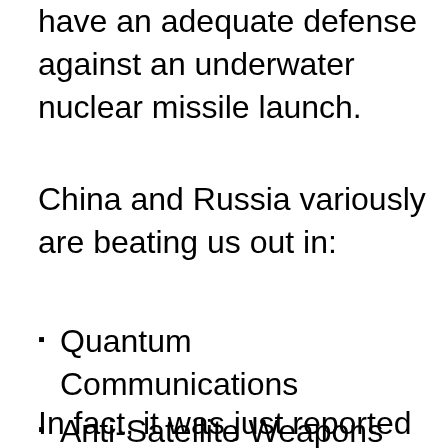have an adequate defense against an underwater nuclear missile launch.
China and Russia variously are beating us out in:
Quantum Communications
Anti-Satellite Weapons
Directed Energy
Hypersonics
In fact, it was just reported that China